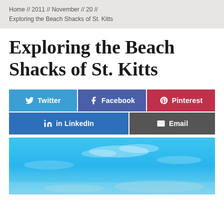Home // 2011 // November // 20 // Exploring the Beach Shacks of St. Kitts
Exploring the Beach Shacks of St. Kitts
[Figure (infographic): Social sharing buttons: Twitter (blue), Facebook (dark blue), Pinterest (red), LinkedIn (blue), Email (dark gray)]
[Figure (photo): Blue sky with light clouds — beach scene photo for St. Kitts article]